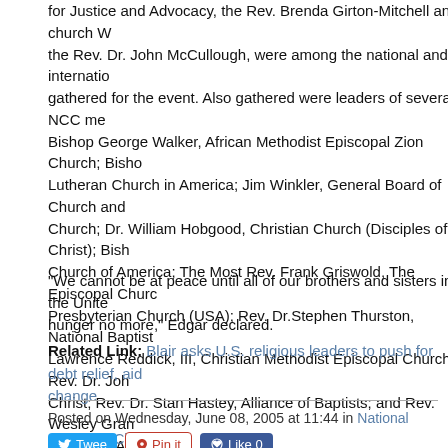for Justice and Advocacy, the Rev. Brenda Girton-Mitchell and church W... the Rev. Dr. John McCullough, were among the national and international gathered for the event. Also gathered were leaders of several NCC me... Bishop George Walker, African Methodist Episcopal Zion Church; Bisho... Lutheran Church in America; Jim Winkler, General Board of Church and Church; Dr. William Hobgood, Christian Church (Disciples of Christ); Bish... Church of America; The Most Rev. Frank Griswold, The Episcopal Churc... Presbyterian Church (USA); Rev. Dr.Stephen Thurston, National Baptist Lawrence Reddick, III, Christian Methodist Episcopal Church; Rev. Dr. Joh... Christ; Rev. Dr. Stan Hastey, Alliance of Baptists; and Rev. Wesley Gran... Church in America.
"We cannot be at peace until all of our brothers and sisters in the Unite... hunger no more," Edgar declared.
Related Link: Blair asks U.S. religious leaders to push for debt relief, aid change
Posted on Wednesday, June 08, 2005 at 11:44 in National Council of Churches | TrackBack (0)
Tweet | Pin it | Like 0